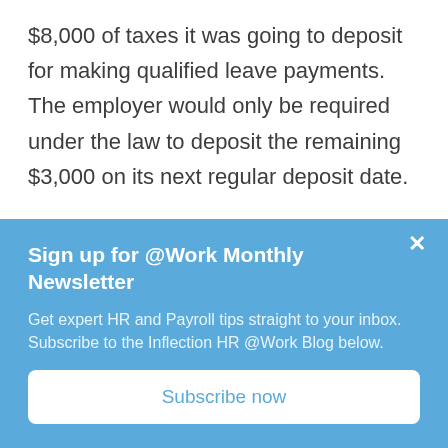$8,000 of taxes it was going to deposit for making qualified leave payments. The employer would only be required under the law to deposit the remaining $3,000 on its next regular deposit date.
If an eligible employer paid $10,000 in sick leave and was required to deposit $8,000 in taxes, the employer could use the
Sign up for @Work Monthly Newsletter
Get expert HR and Payroll tips straight to your inbox. Subscribe to the Inflection HR @Work Blog below.
Subscribe now